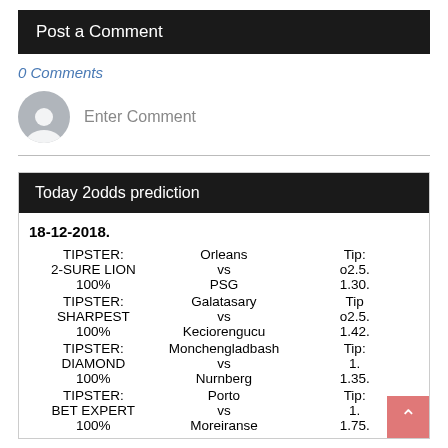Post a Comment
0 Comments
Enter Comment
Today 2odds prediction
| TIPSTER | Match | Tip |
| --- | --- | --- |
| TIPSTER: 2-SURE LION 100% | Orleans vs PSG | Tip: o2.5. 1.30. |
| TIPSTER: SHARPEST 100% | Galatasary vs Keciorengucu | Tip o2.5. 1.42. |
| TIPSTER: DIAMOND 100% | Monchengladbash vs Nurnberg | Tip: 1. 1.35. |
| TIPSTER: BET EXPERT 100% | Porto vs Moreiranse | Tip: 1. 1.75. |